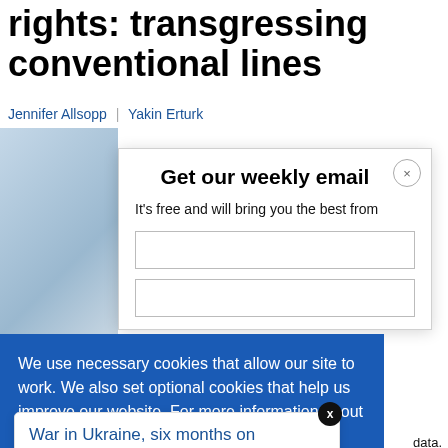rights: transgressing conventional lines
Jennifer Allsopp | Yakin Erturk
[Figure (photo): Partial face/person photo on left side of page]
Get our weekly email
It's free and will bring you the best from
We use necessary cookies that allow our site to work. We also set optional cookies that help us improve our website. For more information about the types of cookies we use. READ OUR COOKIES POLICY HERE
COOKIE
ALLOW
S
War in Ukraine, six months on
8 hours ago
data.
mappi